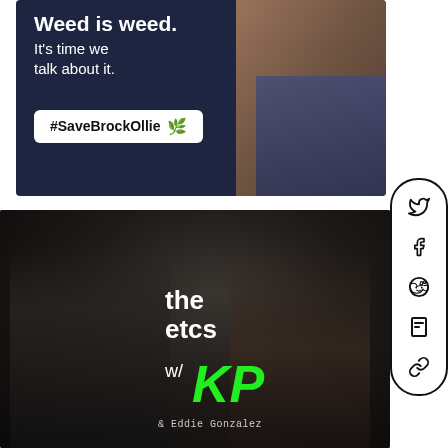[Figure (photo): Dark blue promotional image with text 'Weed is weed. It's time we talk about it.' and hashtag '#SaveBrockOllie' button, with a person wearing a green hoodie on the right side]
[Figure (photo): Dark studio photo of two men sitting in chairs with 'the etcs w/ KP & Eddie Gonzalez' podcast branding overlaid in white and green text]
[Figure (infographic): Social media sharing sidebar with Twitter, Facebook, Reddit, Flipboard, and link icons arranged vertically in a pill-shaped container]